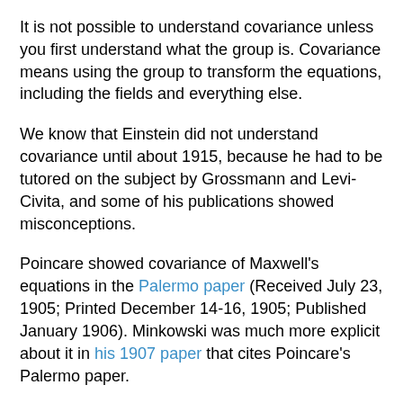It is not possible to understand covariance unless you first understand what the group is. Covariance means using the group to transform the equations, including the fields and everything else.
We know that Einstein did not understand covariance until about 1915, because he had to be tutored on the subject by Grossmann and Levi-Civita, and some of his publications showed misconceptions.
Poincare showed covariance of Maxwell's equations in the Palermo paper (Received July 23, 1905; Printed December 14-16, 1905; Published January 1906). Minkowski was much more explicit about it in his 1907 paper that cites Poincare's Palermo paper.
The Lorentz group and the covariance of Maxwell's equations are right at the core of what we call special special relativity, and these concepts are almost entirely due to Lorentz, Poincare, and Minkowski. Some early contributions were made by FitzGerald, Larmor, and others. Einstein contributed nothing to these concepts, and it is doubtful that